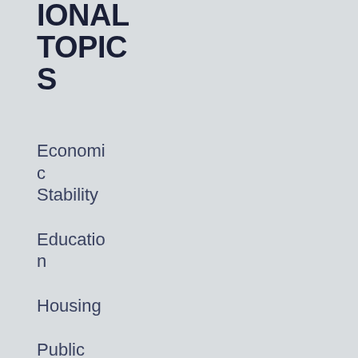IONAL TOPICS
Economic Stability
Education
Housing
Public Health
Safety and Healing